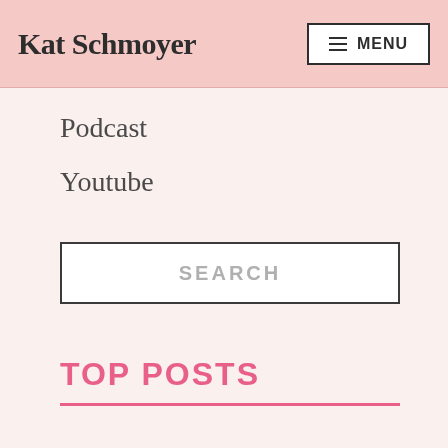Kat Schmoyer
Podcast
Youtube
SEARCH
TOP POSTS